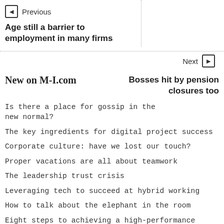◄ Previous
Age still a barrier to employment in many firms
Next ►
New on M-I.com
Bosses hit by pension closures too
Is there a place for gossip in the new normal?
The key ingredients for digital project success
Corporate culture: have we lost our touch?
Proper vacations are all about teamwork
The leadership trust crisis
Leveraging tech to succeed at hybrid working
How to talk about the elephant in the room
Eight steps to achieving a high-performance culture